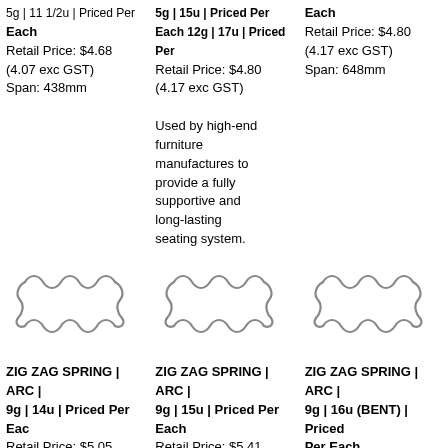5g | 11 1/2u | Priced Per Each
Retail Price: $4.68
(4.07 exc GST)
Span: 438mm
5g | 15u | Priced Per Each 12g | 17u | Priced Per Each
Retail Price: $4.80
(4.17 exc GST)
Used by high-end furniture manufactures to provide a fully supportive and long-lasting seating system.
12g | 17u | Priced Per Each
Retail Price: $4.80
(4.17 exc GST)
Span: 648mm
[Figure (illustration): Zig zag spring illustration - left]
[Figure (illustration): Zig zag spring illustration - center]
[Figure (illustration): Zig zag spring illustration - right]
ZIG ZAG SPRING | ARC | 9g | 14u | Priced Per Each
Retail Price: $5.05
(4.39 exc GST)
ZIG ZAG SPRING | ARC | 9g | 15u | Priced Per Each
Retail Price: $5.41
(4.70 exc GST)
ZIG ZAG SPRING | ARC | 9g | 16u (BENT) | Priced Per Each
Retail Price: $5.53
(4.81 exc GST)